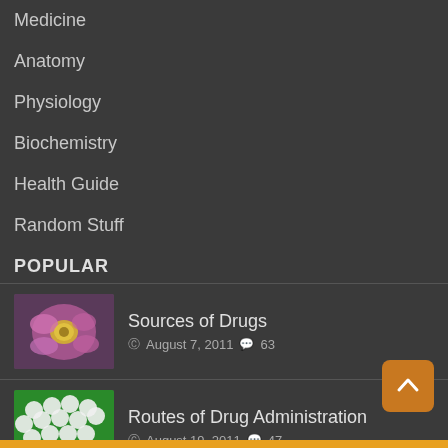Medicine
Anatomy
Physiology
Biochemistry
Health Guide
Random Stuff
POPULAR
Sources of Drugs — August 7, 2011 — 63 comments
Routes of Drug Administration — August 19, 2011 — 47 comments
Scoliosis — December 24, 2013 — 28 comments
Absorption of Drugs